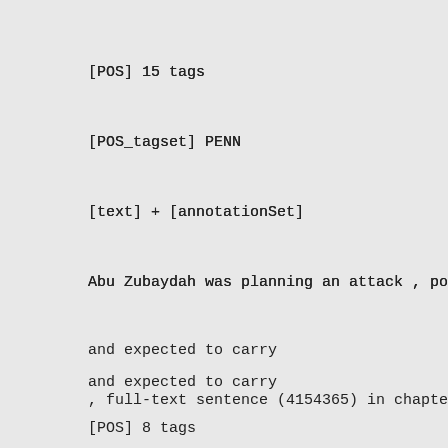[POS] 15 tags
[POS_tagset] PENN
[text] + [annotationSet]
Abu Zubaydah was planning an attack , poss
and expected to carry
, full-text sentence (4154365) in chapter8
[POS] 8 tags